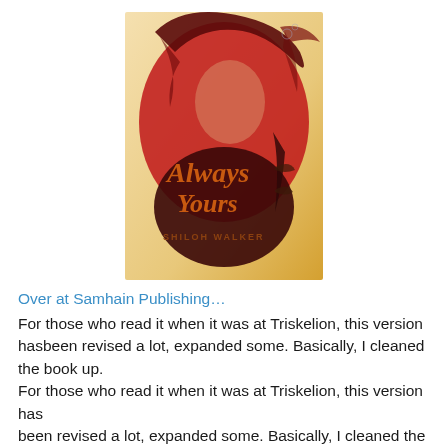[Figure (illustration): Book cover for 'Always Yours' by Shiloh Walker. Features a stylized red-toned illustration of a young woman with flowing hair looking upward, with the title 'Always Yours' in orange/brown script lettering and author name 'Shiloh Walker' below in small caps.]
Over at Samhain Publishing…
For those who read it when it was at Triskelion, this version hasbeen revised a lot, expanded some. Basically, I cleaned the book up.
For those who read it when it was at Triskelion, this version has
been revised a lot, expanded some. Basically, I cleaned the book up.